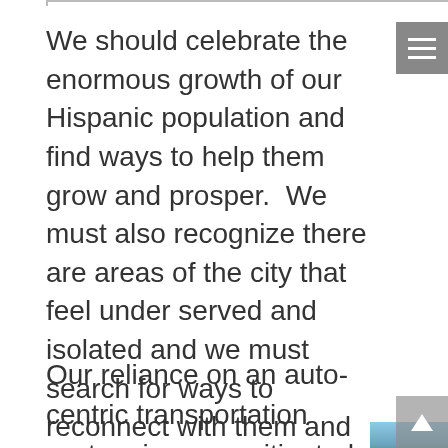We should celebrate the enormous growth of our Hispanic population and find ways to help them grow and prosper.  We must also recognize there are areas of the city that feel under served and isolated and we must search for ways to reconnect with them and address their needs.
Our reliance on an auto-centric transportation system is an unmitigated disaster because we cannot sustain the
[Figure (photo): Photograph of a cracked and deteriorating road surface with trees and green vegetation in the background under a blue sky]